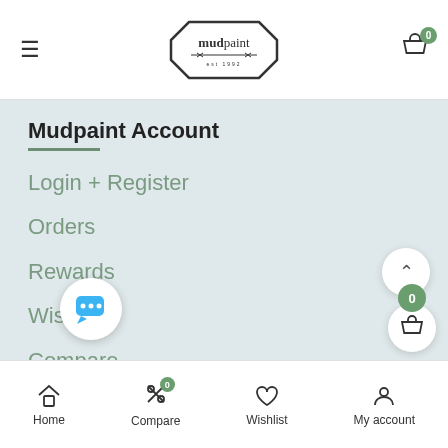mudpaint
Mudpaint Account
Login + Register
Orders
Rewards
Wishlist
Compare
Cor…
Addresses
Home  Compare  Wishlist  My account